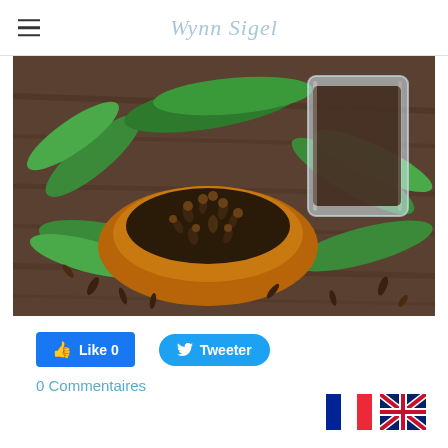Wynn Sigel
[Figure (photo): Cloves spice in a wooden bowl with green leaves and a glass jar of cloves on a wooden table background]
Like 0
Tweeter
0 Commentaires
[Figure (illustration): French flag icon]
[Figure (illustration): UK flag icon]